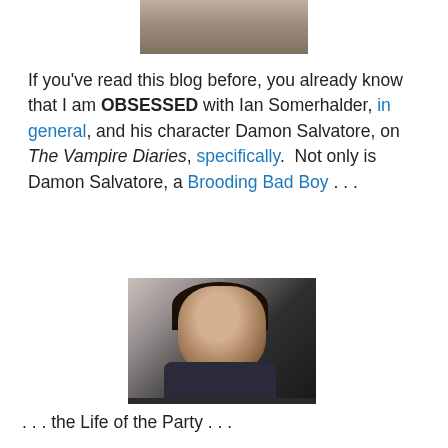[Figure (photo): Partial photo showing someone's arms/torso at the top of the page, cropped]
If you’ve read this blog before, you already know that I am OBSESSED with Ian Somerhalder, in general, and his character Damon Salvatore, on The Vampire Diaries, specifically.  Not only is Damon Salvatore, a Brooding Bad Boy . . .
[Figure (photo): Dark portrait photo of a young man with dark hair and brooding expression, likely Ian Somerhalder as Damon Salvatore]
. . . the Life of the Party . . .